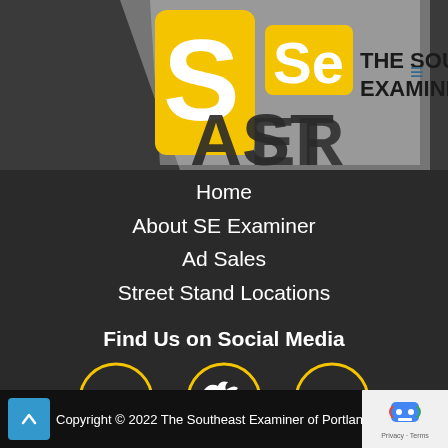[Figure (logo): The Southeast Examiner newspaper logo with yellow S and Se icons on dark background]
Home
About SE Examiner
Ad Sales
Street Stand Locations
Find Us on Social Media
[Figure (infographic): Three social media icon circles with yellow borders: LinkedIn, Twitter, Facebook]
Copyright © 2022 The Southeast Examiner of Portland